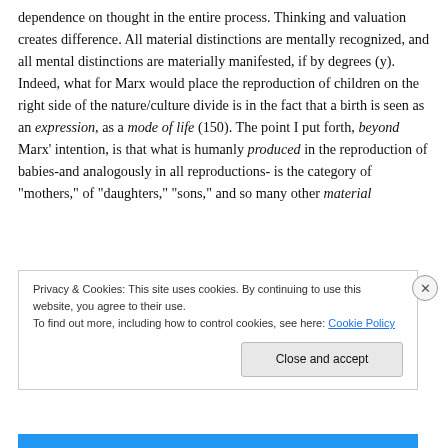dependence on thought in the entire process. Thinking and valuation creates difference. All material distinctions are mentally recognized, and all mental distinctions are materially manifested, if by degrees (y). Indeed, what for Marx would place the reproduction of children on the right side of the nature/culture divide is in the fact that a birth is seen as an expression, as a mode of life (150). The point I put forth, beyond Marx' intention, is that what is humanly produced in the reproduction of babies-and analogously in all reproductions- is the category of "mothers," of "daughters," "sons," and so many other material
Privacy & Cookies: This site uses cookies. By continuing to use this website, you agree to their use.
To find out more, including how to control cookies, see here: Cookie Policy